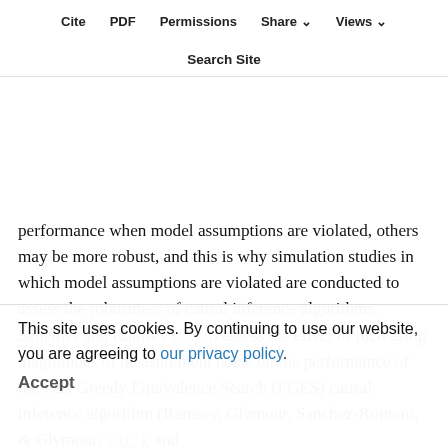Cite  PDF  Permissions  Share  Views  Search Site
measurement noise. So, adding measurement noise will be a violation of the model assumptions. In practice, some causal discovery methods will not have a good performance when model assumptions are violated, others may be more robust, and this is why simulation studies in which model assumptions are violated are conducted to assess the robustness of causal inference algorithms. Scheines and Ramsey (2016) assess the effect of increasing magnitudes of measurement noise on the performance of the Fast Greedy Equivalence Search (FGES) causal inference algorithm (Ramsey, Glymour, Sanchez-Romero, & Glymour, 2017), and
report a reduction on adjacency and orientation precision and recall, as the measurement noise becomes more prominent. They also note that the detrimental effect on accuracy of measurement noise
This site uses cookies. By continuing to use our website, you are agreeing to our privacy policy. Accept